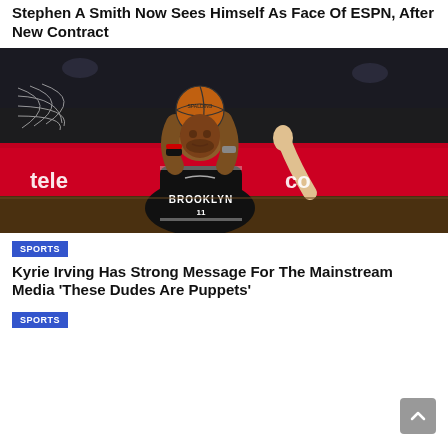Stephen A. Smith Now Sees Himself As Face Of ESPN, After New Contract
[Figure (photo): Basketball player in Brooklyn Nets jersey (#11) holding ball above head near the basket, with defender's hand raised. Red arena signage in background.]
SPORTS
Kyrie Irving Has Strong Message For The Mainstream Media ‘These Dudes Are Puppets’
SPORTS